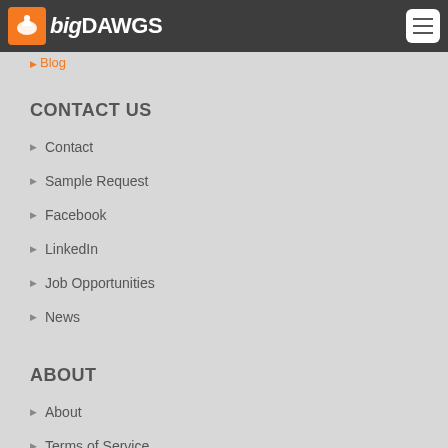bigDAWGS
Blog
CONTACT US
Contact
Sample Request
Facebook
LinkedIn
Job Opportunities
News
ABOUT
About
Terms of Service